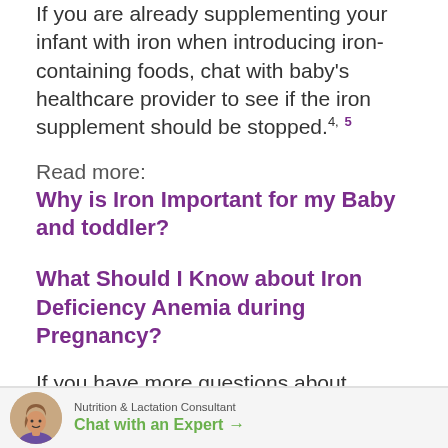If you are already supplementing your infant with iron when introducing iron-containing foods, chat with baby's healthcare provider to see if the iron supplement should be stopped.4,5
Read more:
Why is Iron Important for my Baby and toddler?
What Should I Know about Iron Deficiency Anemia during Pregnancy?
If you have more questions about whether your baby could benefit from vitamins or other supplements, reach out to our team of registered dietitians and moms are available
[Figure (illustration): Avatar of a woman (Nutrition & Lactation Consultant) with a chat with an expert button]
Nutrition & Lactation Consultant
Chat with an Expert →